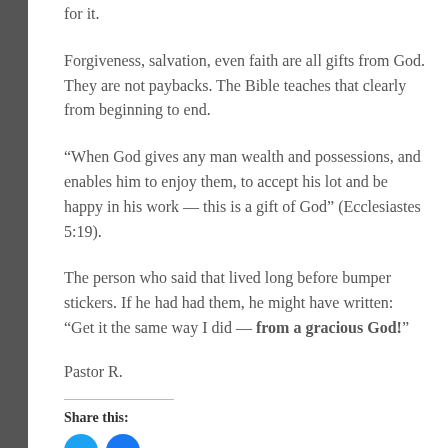for it.
Forgiveness, salvation, even faith are all gifts from God. They are not paybacks. The Bible teaches that clearly from beginning to end.
“When God gives any man wealth and possessions, and enables him to enjoy them, to accept his lot and be happy in his work — this is a gift of God” (Ecclesiastes 5:19).
The person who said that lived long before bumper stickers. If he had had them, he might have written:  “Get it the same way I did — from a gracious God!”
Pastor R.
Share this: